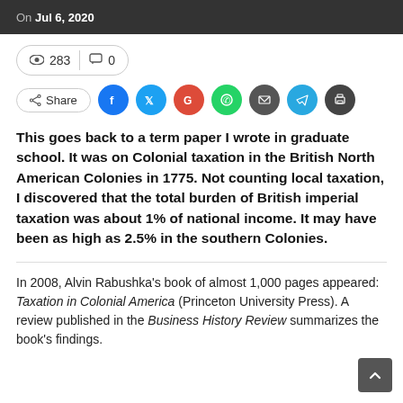On Jul 6, 2020
283  0
Share
This goes back to a term paper I wrote in graduate school. It was on Colonial taxation in the British North American Colonies in 1775. Not counting local taxation, I discovered that the total burden of British imperial taxation was about 1% of national income. It may have been as high as 2.5% in the southern Colonies.
In 2008, Alvin Rabushka’s book of almost 1,000 pages appeared: Taxation in Colonial America (Princeton University Press). A review published in the Business History Review summarizes the book’s findings.